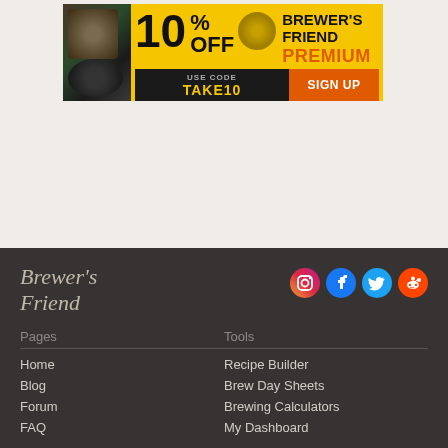[Figure (illustration): Advertisement banner for Brewer's Friend Premium: 10% OFF, use code TAKE10, Sign Up button. Yellow background with brewing ingredients photo on left.]
Brewer's Friend | Social icons: Instagram, Facebook, Twitter, Reddit | Pages: Home, Blog, Forum, FAQ | Tools: Recipe Builder, Brew Day Sheets, Brewing Calculators, My Dashboard